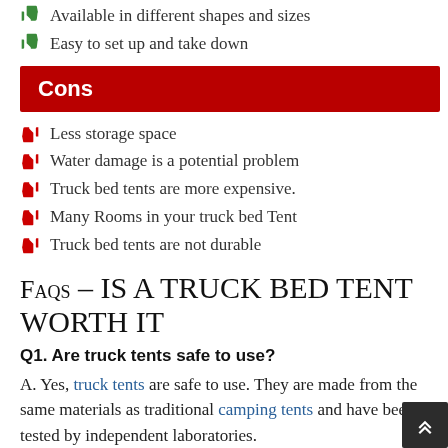Available in different shapes and sizes
Easy to set up and take down
Cons
Less storage space
Water damage is a potential problem
Truck bed tents are more expensive.
Many Rooms in your truck bed Tent
Truck bed tents are not durable
FAQS – IS A TRUCK BED TENT WORTH IT
Q1. Are truck tents safe to use?
A. Yes, truck tents are safe to use. They are made from the same materials as traditional camping tents and have been tested by independent laboratories.